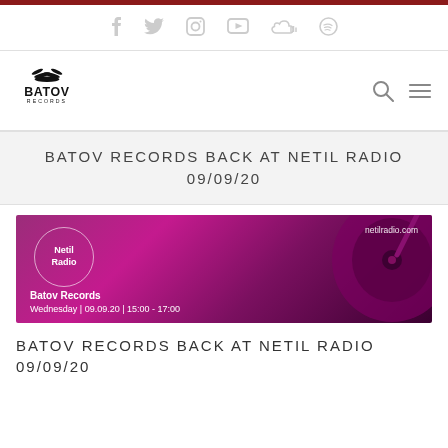Social media icons: Facebook, Twitter, Instagram, YouTube, SoundCloud, Spotify
[Figure (logo): Batov Records logo with vinyl records stacked above the text BATOV RECORDS]
BATOV RECORDS BACK AT NETIL RADIO 09/09/20
[Figure (photo): Promotional banner for Batov Records at Netil Radio. Magenta/purple toned image of a vinyl record on a turntable. Text: netilradio.com, Netil Radio (in a circle), Batov Records, Wednesday | 09.09.20 | 15:00 - 17:00]
BATOV RECORDS BACK AT NETIL RADIO 09/09/20